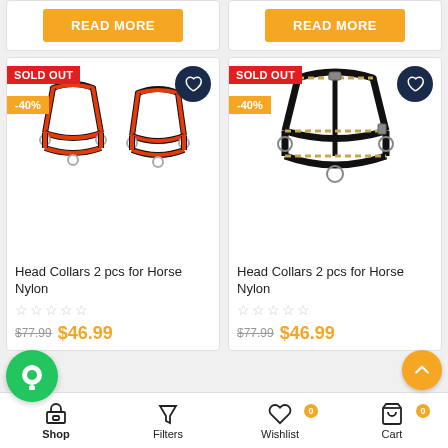[Figure (other): Orange READ MORE button on white card, left product]
[Figure (other): Orange READ MORE button on white card, right product]
[Figure (other): Product card: red nylon horse head collar 2pcs, SOLD OUT badge, -40% discount, heart button, price $46.99 (was $77.99)]
[Figure (other): Product card: black nylon horse head collar 2pcs, SOLD OUT badge, -40% discount, heart button, price $46.99 (was $77.99)]
Head Collars 2 pcs for Horse Nylon
$77.99  $46.99
Head Collars 2 pcs for Horse Nylon
$77.99  $46.99
Shop | Filters | Wishlist 0 | Cart 0